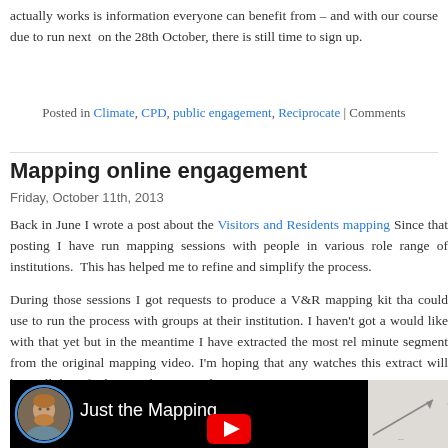actually works is information everyone can benefit from – and with our course due to run next on the 28th October, there is still time to sign up.
Posted in Climate, CPD, public engagement, Reciprocate | Comments
Mapping online engagement
Friday, October 11th, 2013
Back in June I wrote a post about the Visitors and Residents mapping Since that posting I have run mapping sessions with people in various roles range of institutions.  This has helped me to refine and simplify the process.
During those sessions I got requests to produce a V&R mapping kit that could use to run the process with groups at their institution. I haven't got a would like with that yet but in the meantime I have extracted the most rel minute segment from the original mapping video. I'm hoping that any watches this extract will have all the info they need to create their own map.
[Figure (screenshot): YouTube video thumbnail showing 'Just the Mapping' with a bearded man's avatar/profile picture on the left against a black background, and a mapping diagram visible on the right side with a red play button at the bottom center.]